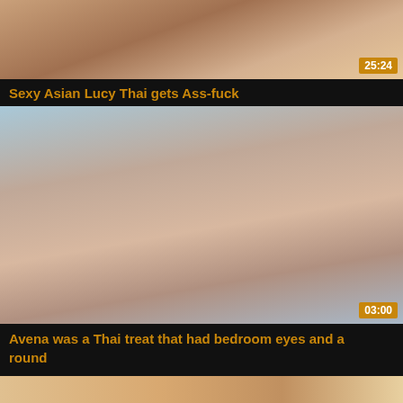[Figure (photo): Partial video thumbnail at top of page, cropped adult content]
Sexy Asian Lucy Thai gets Ass-fuck
[Figure (photo): Video thumbnail showing adult content, woman with dark hair]
Avena was a Thai treat that had bedroom eyes and a round
[Figure (photo): Partial video thumbnail at bottom of page, cropped adult content]